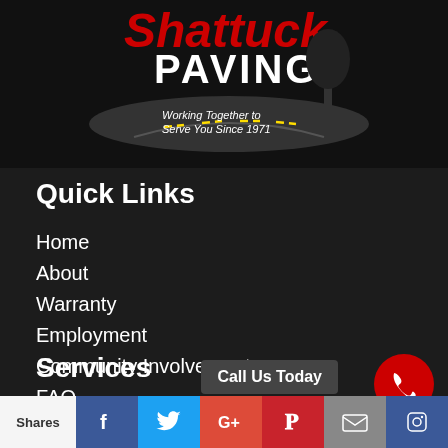[Figure (logo): Shattuck Paving company logo with road illustration and text 'Working Together to Serve You Since 1971']
Quick Links
Home
About
Warranty
Employment
Community Involvement
FAQ
Services
Paving
Call Us Today
[Figure (infographic): Social sharing bar with Shares label, Facebook, Twitter, Google+, Pinterest, Email, and another social icon buttons]